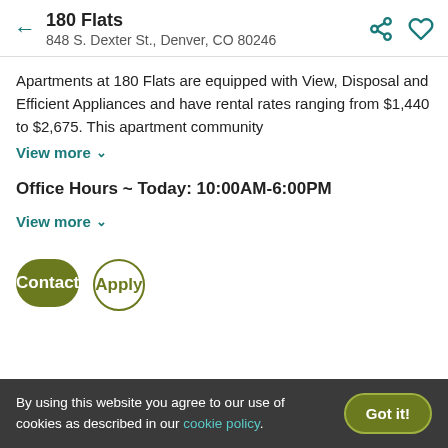180 Flats
848 S. Dexter St., Denver, CO 80246
Apartments at 180 Flats are equipped with View, Disposal and Efficient Appliances and have rental rates ranging from $1,440 to $2,675. This apartment community
View more
Office Hours ~ Today: 10:00AM-6:00PM
View more
Contact
Apply
By using this website you agree to our use of cookies as described in our cookie policy.